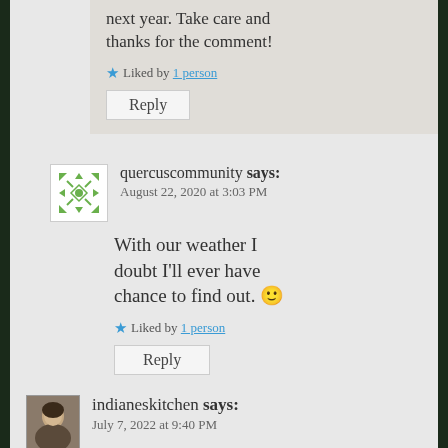next year. Take care and thanks for the comment!
Liked by 1 person
Reply
quercuscommunity says:
August 22, 2020 at 3:03 PM
With our weather I doubt I'll ever have chance to find out. 🙂
Liked by 1 person
Reply
indianeskitchen says:
July 7, 2022 at 9:40 PM